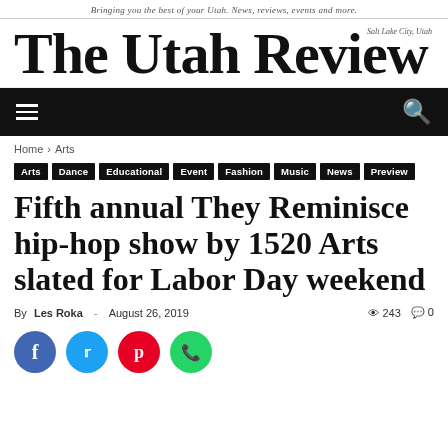Bringing you the best of your Utah. News, reviews, events and more.
The Utah Review
Salt Lake City, Utah
[Figure (screenshot): Black navigation bar with hamburger menu icon on left and search icon on right]
Home › Arts
Arts
Dance
Educational
Event
Fashion
Music
News
Preview
Fifth annual They Reminisce hip-hop show by 1520 Arts slated for Labor Day weekend
By Les Roka - August 26, 2019  243  0